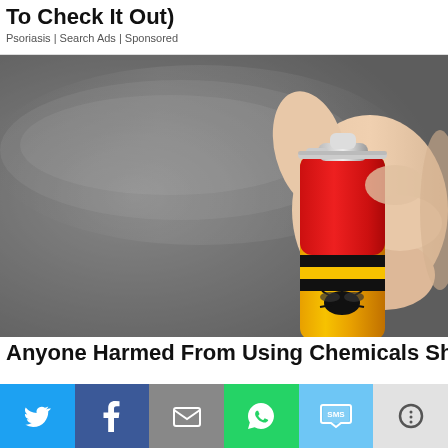To Check It Out)
Psoriasis | Search Ads | Sponsored
[Figure (photo): A hand holding and pressing a red and yellow aerosol insect spray can against a grey background, with spray mist visible coming from the nozzle.]
Anyone Harmed From Using Chemicals Should
Twitter share | Facebook share | Email share | WhatsApp share | SMS share | More share options